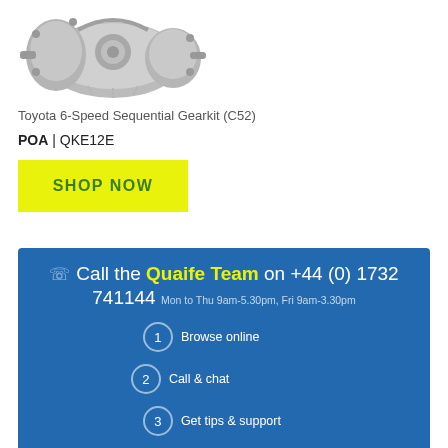[Figure (photo): Photograph of a Toyota 6-Speed Sequential Gearkit (C52) mechanical gearbox unit, shown at an angle against a white background.]
Toyota 6-Speed Sequential Gearkit (C52)
POA | QKE12E
SHOP NOW
Call the Quaife Team on +44 (0) 1732 741144  Mon to Thu 9am-5.30pm, Fri 9am-3.30pm
1 Browse online
2 Call & chat
3 Get tips & support
4 Buy your products